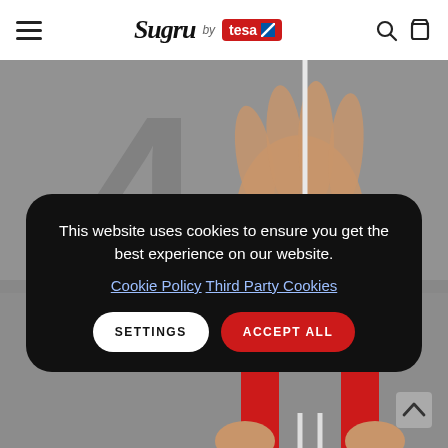Sugru by tesa — navigation bar with hamburger menu, logo, search and cart icons
[Figure (screenshot): Screenshot of Sugru by tesa website showing cookie consent modal overlay on top of product photography (hand holding cable, red moldable adhesive shape)]
This website uses cookies to ensure you get the best experience on our website. Cookie Policy  Third Party Cookies
SETTINGS   ACCEPT ALL
You have 30 minutes to fix, bond and create.